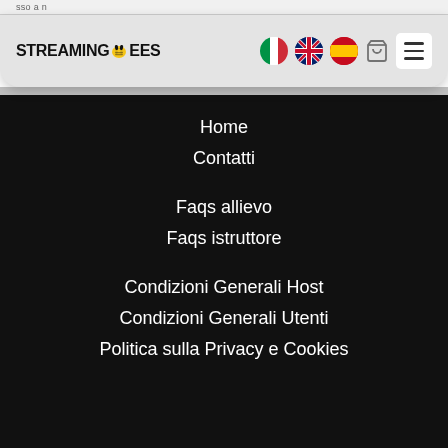sso a n
[Figure (logo): StreamingBees logo with bee icon, Italian flag, UK flag, Spanish flag, cart icon, and hamburger menu]
Home
Contatti
Faqs allievo
Faqs istruttore
Condizioni Generali Host
Condizioni Generali Utenti
Politica sulla Privacy e Cookies